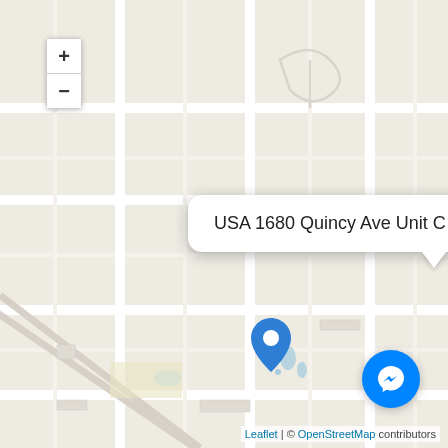[Figure (map): OpenStreetMap street map of Naperville, IL area showing a location pin at 1680 Quincy Ave Unit C Naperville, USA. The map shows a light beige grid of roads with minimal detail. A popup balloon displays the address text. Zoom in/out controls are in the upper left. A Messenger chat button is in the lower right. Attribution reads 'Leaflet | © OpenStreetMap contributors'.]